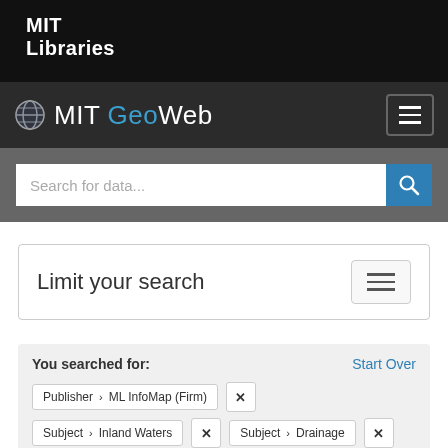MIT Libraries
MIT GeoWeb
Search for data...
Limit your search
You searched for:
Publisher > ML InfoMap (Firm) ×
Subject > Inland Waters × Subject > Drainage ×
Subject > Rivers × Data type > Line ×